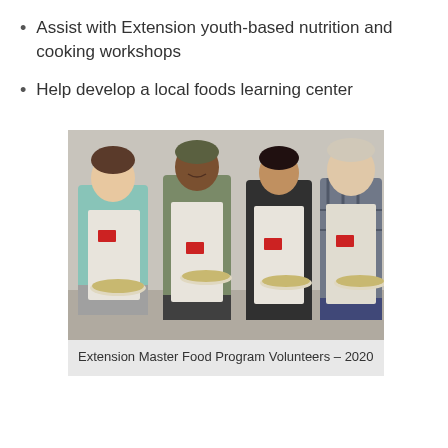Assist with Extension youth-based nutrition and cooking workshops
Help develop a local foods learning center
[Figure (photo): Four people wearing white aprons holding plates of food, smiling at the camera in a kitchen setting. Extension Master Food Program Volunteers – 2020.]
Extension Master Food Program Volunteers – 2020